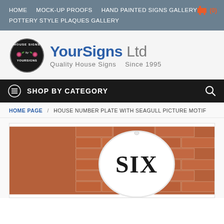HOME   MOCK-UP PROOFS   HAND PAINTED SIGNS GALLERY   POTTERY STYLE PLAQUES GALLERY
[Figure (logo): YourSigns Ltd logo — oval black badge with House Signs by Yoursigns text and roses, next to blue YourSigns Ltd text and tagline Quality House Signs Since 1995]
SHOP BY CATEGORY
HOME PAGE / HOUSE NUMBER PLATE WITH SEAGULL PICTURE MOTIF
[Figure (photo): White oval ceramic house sign with SIX written in black serif letters, mounted on a brick wall]